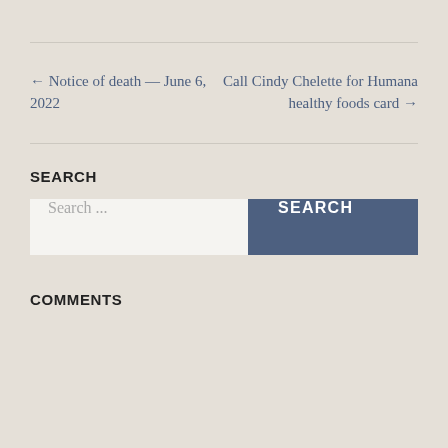← Notice of death — June 6, 2022
Call Cindy Chelette for Humana healthy foods card →
SEARCH
Search ...
SEARCH
COMMENTS